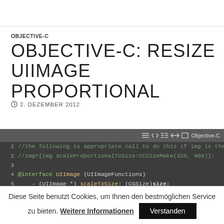OBJECTIVE-C
OBJECTIVE-C: RESIZE UIIMAGE PROPORTIONAL
2. DEZEMBER 2012
[Figure (screenshot): Code editor screenshot showing Objective-C code snippet. Line 1: //the following is appropriate call to do this if img is the UIIma, Line 2: //img=[img scaleProportionalToSize:CCSizeMake(320, 480)];, Line 3: (empty), Line 4: @interface UIImage (UIImageFunctions), Line 5: - (UIImage *) scaleToSize: (CGSize)size;]
Diese Seite benutzt Cookies, um Ihnen den bestmöglichen Service zu bieten. Weitere Informationen  |  Verstanden